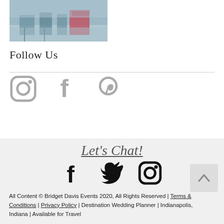[Figure (photo): Aerial or street-level photo of a waterway with boats and outdoor seating area]
Follow Us
[Figure (infographic): Three social media icons: Instagram, Facebook, Pinterest in gray]
[Figure (infographic): Footer section with cursive 'Let's Chat!' heading, Facebook, Twitter, and Instagram icons in black, and copyright text]
All Content © Bridget Davis Events 2020, All Rights Reserved | Terms & Conditions | Privacy Policy | Destination Wedding Planner | Indianapolis, Indiana | Available for Travel